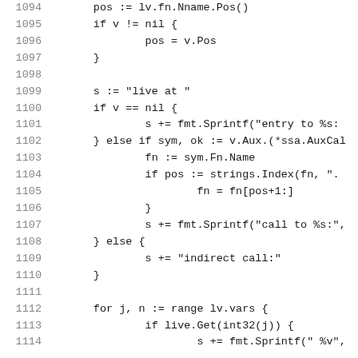Code listing lines 1094-1114, Go source code
1094    pos := lv.fn.Nname.Pos()
1095    if v != nil {
1096            pos = v.Pos
1097    }
1098
1099    s := "live at "
1100    if v == nil {
1101            s += fmt.Sprintf("entry to %s:"
1102    } else if sym, ok := v.Aux.(*ssa.AuxCal
1103            fn := sym.Fn.Name
1104            if pos := strings.Index(fn, "."
1105                    fn = fn[pos+1:]
1106            }
1107            s += fmt.Sprintf("call to %s:",
1108    } else {
1109            s += "indirect call:"
1110    }
1111
1112    for j, n := range lv.vars {
1113            if live.Get(int32(j)) {
1114                    s += fmt.Sprintf(" %v",